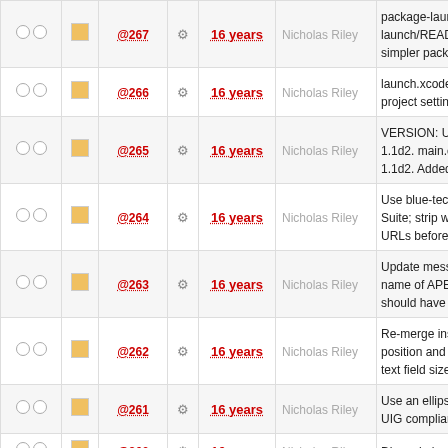|  |  | Rev |  | Age | Author | Message |
| --- | --- | --- | --- | --- | --- | --- |
| ○○ | ■ | @267 | ⚙ | 16 years | Nicholas Riley | package-launch.s launch/README simpler packaging |
| ○○ | ■ | @266 | ⚙ | 16 years | Nicholas Riley | launch.xcodeproj project settings. |
| ○○ | ■ | @265 | ⚙ | 16 years | Nicholas Riley | VERSION: Updat 1.1d2. main.c: Up 1.1d2. Added -L. |
| ○○ | ■ | @264 | ⚙ | 16 years | Nicholas Riley | Use blue-tec Loc Suite; strip whites URLs before … |
| ○○ | ■ | @263 | ⚙ | 16 years | Nicholas Riley | Update message name of APE Ma should have done |
| ○○ | ■ | @262 | ⚙ | 16 years | Nicholas Riley | Re-merge installe position and size, text field size … |
| ○○ | ■ | @261 | ⚙ | 16 years | Nicholas Riley | Use an ellipsis fo UIG compliance. |
| ○○ | ■ | @260 | ⚙ | 16 years | Nicholas Riley | Discard alarm co |
| ○○ | ■ | @259 | ⚙ | 16 years | Nicholas Riley | Sortable alarm lis |
| ○○ | ■ | @258 | ⚙ | 16 years | Nicholas Riley | Save most recent settings to Setting |